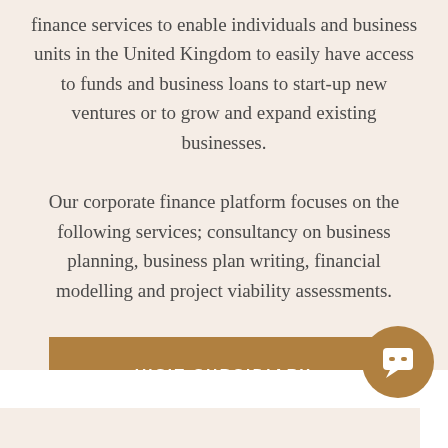finance services to enable individuals and business units in the United Kingdom to easily have access to funds and business loans to start-up new ventures or to grow and expand existing businesses.
Our corporate finance platform focuses on the following services; consultancy on business planning, business plan writing, financial modelling and project viability assessments.
VISIT SUBSIDIARY